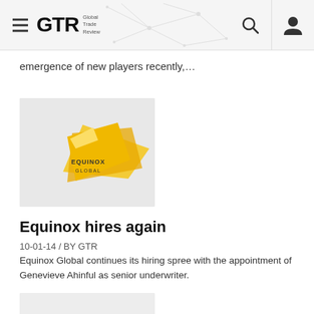GTR Global Trade Review
emergence of new players recently,...
[Figure (logo): Equinox Global logo — yellow/gold angular shape with EQUINOX GLOBAL text on grey background]
Equinox hires again
10-01-14 / BY GTR
Equinox Global continues its hiring spree with the appointment of Genevieve Ahinful as senior underwriter.
[Figure (logo): GTR Global Trade Review logo on light grey background, partially visible (cropped at bottom of page)]